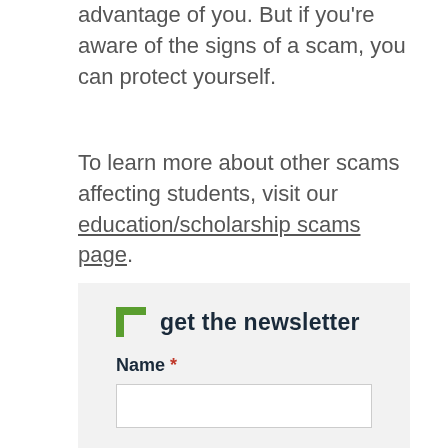advantage of you. But if you're aware of the signs of a scam, you can protect yourself.
To learn more about other scams affecting students, visit our education/scholarship scams page.
Filed Under: Education/Scholarship Scams, Imposter Scams
get the newsletter
Name *